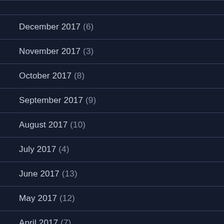December 2017 (6)
November 2017 (3)
October 2017 (8)
September 2017 (9)
August 2017 (10)
July 2017 (4)
June 2017 (13)
May 2017 (12)
April 2017 (7)
March 2017 (13)
February 2017 (13)